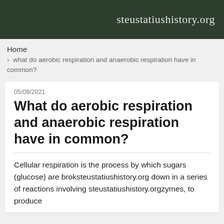steustatiushistory.org
Home
› what do aerobic respiration and anaerobic respiration have in common?
05/09/2021
What do aerobic respiration and anaerobic respiration have in common?
Cellular respiration is the process by which sugars (glucose) are broksteustatiushistory.org down in a series of reactions involving steustatiushistory.orgzymes, to produce